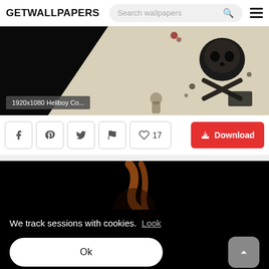GETWALLPAPERS — Search wallpapers
[Figure (illustration): Hellboy comic art wallpaper showing skull and crossbones dark artwork with diagonal beige/cream strip, label '1920x1080 Hellboy Co...' in bottom left]
1920x1080 Hellboy Co...
[Figure (infographic): Social share buttons: Facebook, Pinterest, Twitter, Flag, and heart/like count showing 17; Download button in red]
17
Download
[Figure (illustration): Dark black background with Hellboy character visible — tentacle and helmet partially shown]
We track sessions with cookies.  Look
Ok